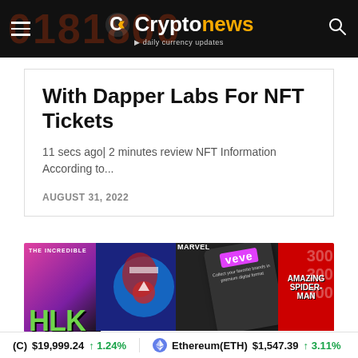Cryptonews — daily currency updates
With Dapper Labs For NFT Tickets
11 secs ago| 2 minutes review NFT Information According to...
AUGUST 31, 2022
[Figure (photo): Marvel comic book covers featuring Hulk and Captain America alongside a VeVe app phone and Amazing Spider-Man cover]
(C) $19,999.24 ↑ 1.24%   Ethereum(ETH) $1,547.39 ↑ 3.11%